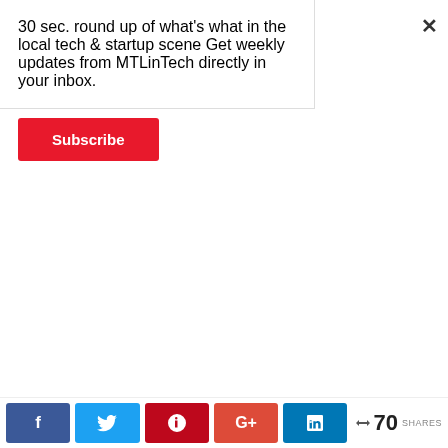30 sec. round up of what's what in the local tech & startup scene Get weekly updates from MTLinTech directly in your inbox.
Subscribe
overseas online pharmacy no prescription
walgreens pharmacy online
reputable canadian online pharmacy
u s online pharmacy
59
StanleyTof on December 5, 2019 at 10:39 pm
Log in to Reply
canada drugs cvs pharmacy online application
70 SHARES